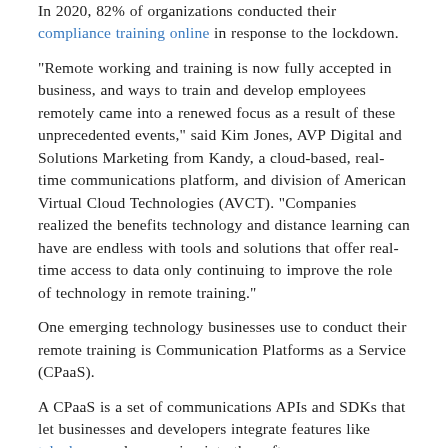In 2020, 82% of organizations conducted their compliance training online in response to the lockdown.
"Remote working and training is now fully accepted in business, and ways to train and develop employees remotely came into a renewed focus as a result of these unprecedented events," said Kim Jones, AVP Digital and Solutions Marketing from Kandy, a cloud-based, real-time communications platform, and division of American Virtual Cloud Technologies (AVCT). "Companies realized the benefits technology and distance learning can have are endless with tools and solutions that offer real-time access to data only continuing to improve the role of technology in remote training."
One emerging technology businesses use to conduct their remote training is Communication Platforms as a Service (CPaaS).
A CPaaS is a set of communications APIs and SDKs that let businesses and developers integrate features like telephony and messaging into the software.
Businesses also often use it to...